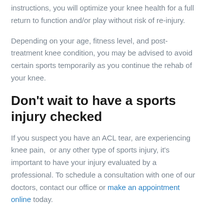instructions, you will optimize your knee health for a full return to function and/or play without risk of re-injury.
Depending on your age, fitness level, and post-treatment knee condition, you may be advised to avoid certain sports temporarily as you continue the rehab of your knee.
Don’t wait to have a sports injury checked
If you suspect you have an ACL tear, are experiencing knee pain,  or any other type of sports injury, it’s important to have your injury evaluated by a professional. To schedule a consultation with one of our doctors, contact our office or make an appointment online today.